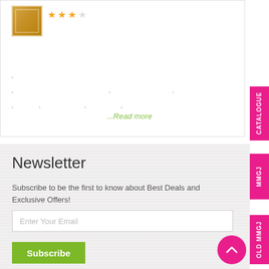[Figure (illustration): Book thumbnail with star rating (3 out of 4 stars shown in orange)]
...Read more
Newsletter
Subscribe to be the first to know about Best Deals and Exclusive Offers!
Enter Your Email
Subscribe
CATALOGUE
MMGJ
OLD MMGJ